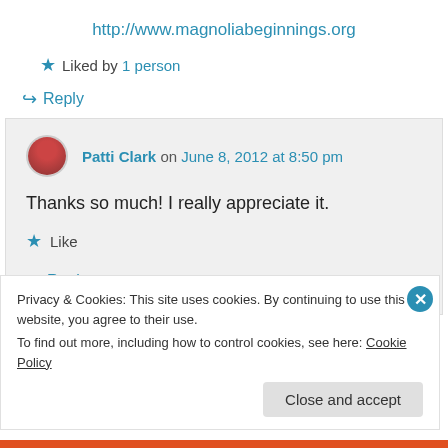http://www.magnoliabeginnings.org
★ Liked by 1 person
↪ Reply
Patti Clark on June 8, 2012 at 8:50 pm
Thanks so much! I really appreciate it.
★ Like
↪ Reply
Privacy & Cookies: This site uses cookies. By continuing to use this website, you agree to their use. To find out more, including how to control cookies, see here: Cookie Policy
Close and accept